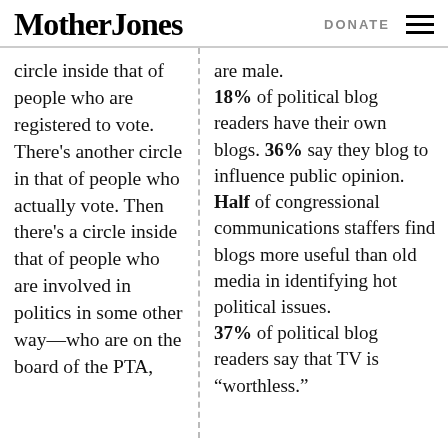Mother Jones | DONATE
circle inside that of people who are registered to vote. There's another circle in that of people who actually vote. Then there's a circle inside that of people who are involved in politics in some other way—who are on the board of the PTA,
are male.
18% of political blog readers have their own blogs. 36% say they blog to influence public opinion.
Half of congressional communications staffers find blogs more useful than old media in identifying hot political issues.
37% of political blog readers say that TV is "worthless."